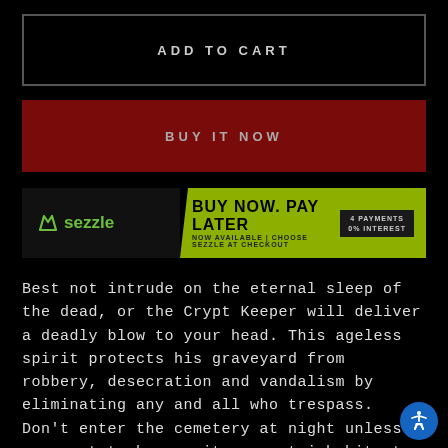ADD TO CART
BUY IT NOW
[Figure (infographic): Sezzle Buy Now Pay Later banner — logo on dark left panel, lime green right panel with 'BUY NOW. PAY LATER / NOW AVAILABLE | CHOOSE SEZZLE AT CHECKOUT' text, dark badge '4 PAYMENTS / 0% INTEREST']
Best not intrude on the eternal sleep of the dead, or the Crypt Keeper will deliver a deadly blow to your head. This ageless spirit protects his graveyard from robbery, desecration and vandalism by eliminating any and all who trespass. Don't enter the cemetery at night unless you want to become its newest inhabitant. Watch from outside the gate as his eerie figure roams the rolling hills, obscured by light fog and silhouetted by a glowing moon. The Crypt Keeper Halloween mask is a collector's quality product that